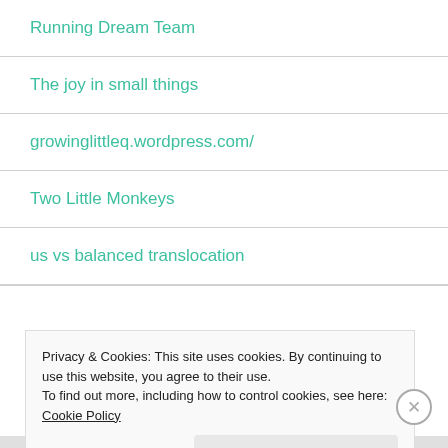Running Dream Team
The joy in small things
growinglittleq.wordpress.com/
Two Little Monkeys
us vs balanced translocation
Privacy & Cookies: This site uses cookies. By continuing to use this website, you agree to their use.
To find out more, including how to control cookies, see here: Cookie Policy
Close and accept